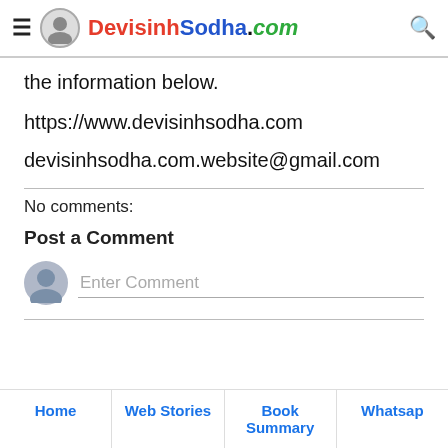DevisinhSodha.com
the information below.
https://www.devisinhsodha.com
devisinhsodha.com.website@gmail.com
No comments:
Post a Comment
Enter Comment
Home | Web Stories | Book Summary | Whatsap